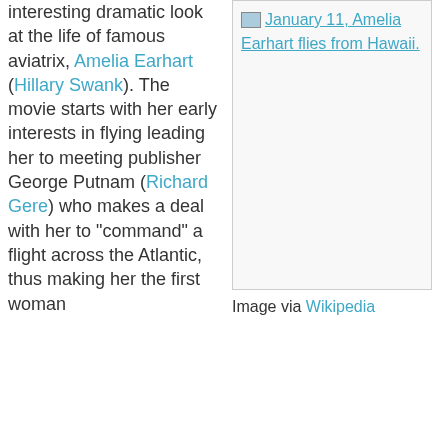interesting dramatic look at the life of famous aviatrix, Amelia Earhart (Hillary Swank). The movie starts with her early interests in flying leading her to meeting publisher George Putnam (Richard Gere) who makes a deal with her to "command" a flight across the Atlantic, thus making her the first woman
[Figure (photo): Image placeholder box with link: January 11, Amelia Earhart flies from Hawaii.]
Image via Wikipedia